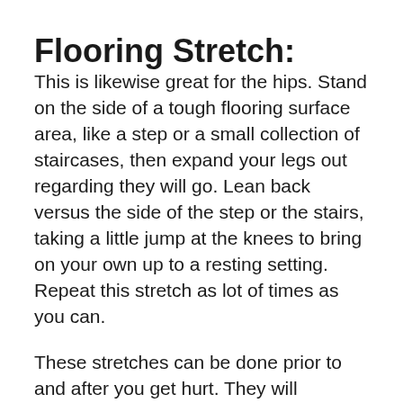Flooring Stretch:
This is likewise great for the hips. Stand on the side of a tough flooring surface area, like a step or a small collection of staircases, then expand your legs out regarding they will go. Lean back versus the side of the step or the stairs, taking a little jump at the knees to bring on your own up to a resting setting. Repeat this stretch as lot of times as you can.
These stretches can be done prior to and after you get hurt. They will certainly help you stay clear of rigidity in the hips. So if you are experiencing hip discomfort, don't neglect the trouble. Attempt these stretches to minimize your concerns. You might be...